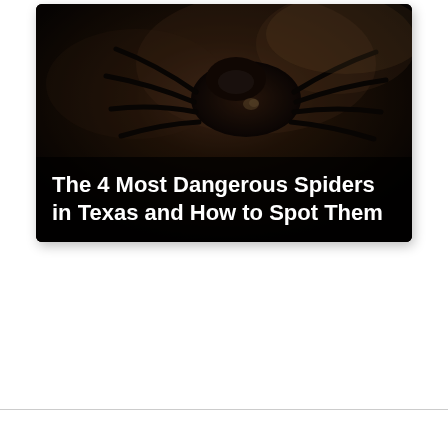[Figure (photo): Close-up dark photograph of a spider (likely a black widow or similar dangerous spider) with dark brown/black coloring visible against a dark background. White text overlay on dark semi-transparent banner reads 'The 4 Most Dangerous Spiders in Texas and How to Spot Them'.]
The 4 Most Dangerous Spiders in Texas and How to Spot Them